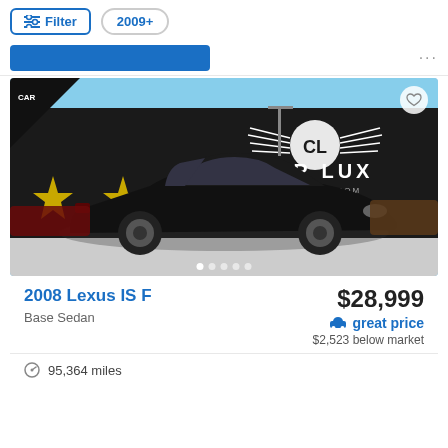Filter  2009+
[Figure (photo): Photo of a black 2008 Lexus IS F sedan parked in front of Car Lux dealership with signage showing winged CL logo and gold stars on a black building facade. Blue sky background.]
2008 Lexus IS F
Base Sedan
$28,999
great price
$2,523 below market
95,364 miles